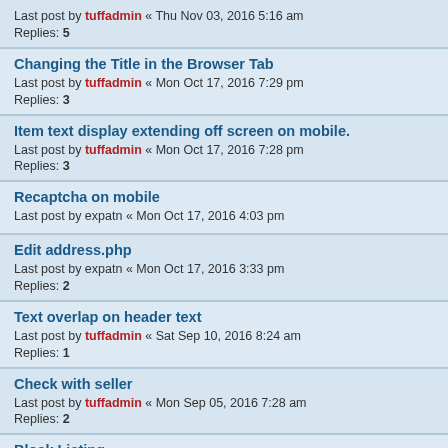Last post by tuffadmin « Thu Nov 03, 2016 5:16 am
Replies: 5
Changing the Title in the Browser Tab
Last post by tuffadmin « Mon Oct 17, 2016 7:29 pm
Replies: 3
Item text display extending off screen on mobile.
Last post by tuffadmin « Mon Oct 17, 2016 7:28 pm
Replies: 3
Recaptcha on mobile
Last post by expatn « Mon Oct 17, 2016 4:03 pm
Edit address.php
Last post by expatn « Mon Oct 17, 2016 3:33 pm
Replies: 2
Text overlap on header text
Last post by tuffadmin « Sat Sep 10, 2016 8:24 am
Replies: 1
Check with seller
Last post by tuffadmin « Mon Sep 05, 2016 7:28 am
Replies: 2
Block Listing
Last post by sunnysunnet « Fri Sep 02, 2016 8:22 am
Replies: 4
Image needed
Last post by sunnysunnet « Wed Aug 31, 2016 6:36 am
Payment Pro
Last post by sunnysunnet « Mon Aug 29, 2016 10:06 am
Replies: 4